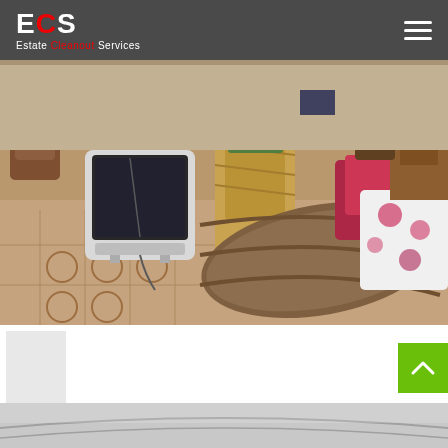ECS Estate Cleanout Services
[Figure (photo): Interior room filled with household items and furniture including an old CRT television, wicker chairs, a rolled-up mattress or carpet, red cushions, floral bedding, and wooden furniture stacked on a tiled floor]
[Figure (photo): Partial view of another room or outdoor area at the bottom of the page]